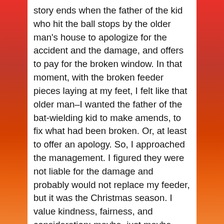story ends when the father of the kid who hit the ball stops by the older man's house to apologize for the accident and the damage, and offers to pay for the broken window. In that moment, with the broken feeder pieces laying at my feet, I felt like that older man–I wanted the father of the bat-wielding kid to make amends, to fix what had been broken. Or, at least to offer an apology. So, I approached the management. I figured they were not liable for the damage and probably would not replace my feeder, but it was the Christmas season. I value kindness, fairness, and consideration; maybe, just maybe, they might be feeling beneficent and offer to make things right.
Well. They were not interested in replacing my feeder. Not only that, but they were largely